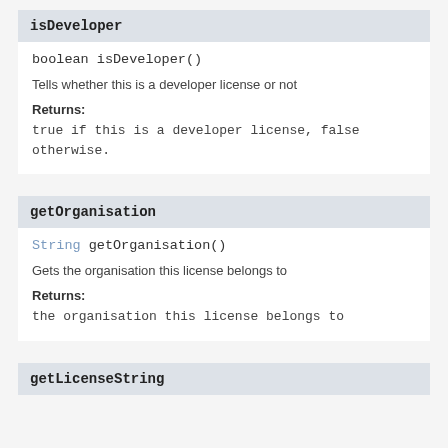isDeveloper
boolean isDeveloper()
Tells whether this is a developer license or not
Returns:
true if this is a developer license, false otherwise.
getOrganisation
String getOrganisation()
Gets the organisation this license belongs to
Returns:
the organisation this license belongs to
getLicenseString